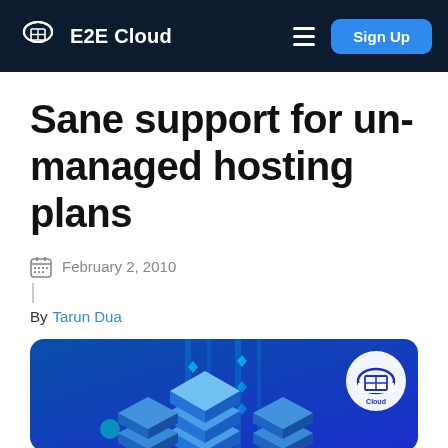E2E Cloud  Sign Up
Sane support for un-managed hosting plans
February 2, 2010
By Tarun Dua
[Figure (illustration): Blue-background illustration showing isometric server/cloud stacks with E2E Cloud logo in upper right corner]